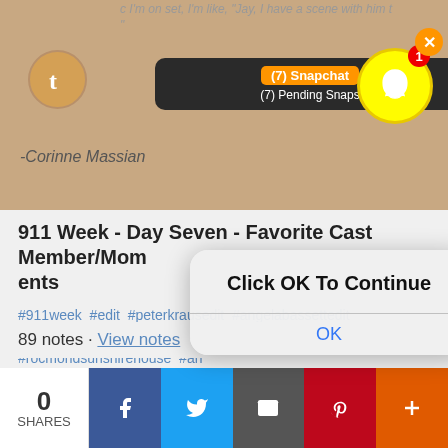c I'm on set, I'm like, 'Jay, I have a scene with him t "
[Figure (screenshot): Snapchat notification bar showing '(7) Snapchat' and '(7) Pending Snaps' with Tumblr and Snapchat icons]
-Corinne Massian
911 Week - Day Seven - Favorite Cast Member/Moments
#911week #edit #peterkrausedit #angelabassettedit #dinahjaneedit #oliverstalkedit #aishahindsedit #connerchinedit #rocmondsunshirehouse #angelabassettedit #oliverstalkedit #kennethchoi #corinnemasionedit #911castmemberedit #photo #cast
[Figure (screenshot): iOS-style dialog box with text 'Click OK To Continue' and an OK button]
89 notes · View notes
[Figure (infographic): Share bar at bottom showing 0 SHARES and social sharing buttons for Facebook, Twitter, Email, Pinterest, and More]